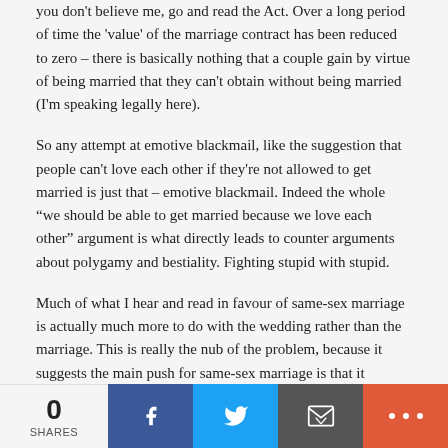you don't believe me, go and read the Act. Over a long period of time the 'value' of the marriage contract has been reduced to zero – there is basically nothing that a couple gain by virtue of being married that they can't obtain without being married (I'm speaking legally here).
So any attempt at emotive blackmail, like the suggestion that people can't love each other if they're not allowed to get married is just that – emotive blackmail. Indeed the whole "we should be able to get married because we love each other" argument is what directly leads to counter arguments about polygamy and bestiality. Fighting stupid with stupid.
Much of what I hear and read in favour of same-sex marriage is actually much more to do with the wedding rather than the marriage. This is really the nub of the problem, because it suggests the main push for same-sex marriage is that it enables couples to see themselves as 'legitimate'. That this should be an issue is, for me, where the attention should be devoted. In this day and age,
0 SHARES | Facebook | Twitter | Email | More